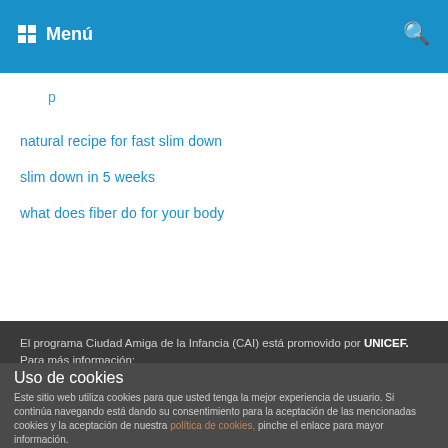Menú
natural recipe for fast slim down
slim down in 5 weeks
what does fiber do for your body
El programa Ciudad Amiga de la Infancia (CAI) está promovido por UNICEF.
Para más información:
www.ciudadesamigas.org
UNICEF Comité País Vasco
Iparraguirre, 9 - 1º
Uso de cookies
Este sitio web utiliza cookies para que usted tenga la mejor experiencia de usuario. Si continúa navegando está dando su consentimiento para la aceptación de las mencionadas cookies y la aceptación de nuestra política de cookies, pinche el enlace para mayor información.